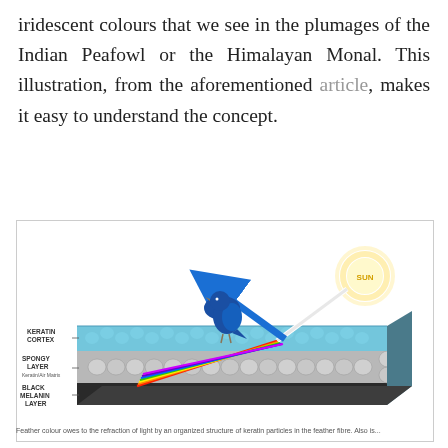iridescent colours that we see in the plumages of the Indian Peafowl or the Himalayan Monal. This illustration, from the aforementioned article, makes it easy to understand the concept.
[Figure (illustration): Scientific illustration showing feather nanostructure layers: a blue bird stands on top of a layered slab diagram. The layers are labeled KERATIN CORTEX, SPONGY LAYER (Keratin/Air Matrix), and BLACK MELANIN LAYER. A white ray from the SUN (labeled in orange) hits the surface and is refracted into a rainbow spectrum. A blue arrow shows the reflected blue light going upward toward the bird.]
Feather colour owes to the refraction of light by an organized structure of keratin particles in the feather fibre. Also is...